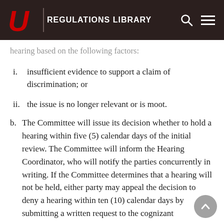U REGULATIONS LIBRARY
hearing based on the following factors:
i. insufficient evidence to support a claim of discrimination; or
ii. the issue is no longer relevant or is moot.
b. The Committee will issue its decision whether to hold a hearing within five (5) calendar days of the initial review. The Committee will inform the Hearing Coordinator, who will notify the parties concurrently in writing. If the Committee determines that a hearing will not be held, either party may appeal the decision to deny a hearing within ten (10) calendar days by submitting a written request to the cognizant Vice President. The decision of the Vice...